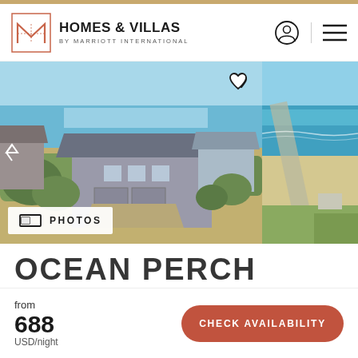HOMES & VILLAS BY MARRIOTT INTERNATIONAL
[Figure (photo): Aerial view of a large beach house with gray roof near the ocean, surrounded by dunes and greenery]
[Figure (photo): Aerial view of a beach shoreline with turquoise water and sandy beach]
PHOTOS
OCEAN PERCH
from
688
USD/night
CHECK AVAILABILITY